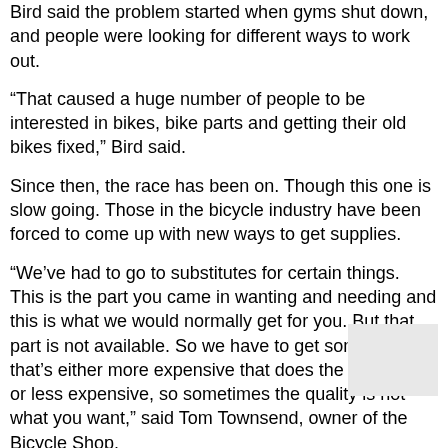Bird said the problem started when gyms shut down, and people were looking for different ways to work out.
“That caused a huge number of people to be interested in bikes, bike parts and getting their old bikes fixed,” Bird said.
Since then, the race has been on. Though this one is slow going. Those in the bicycle industry have been forced to come up with new ways to get supplies.
“We’ve had to go to substitutes for certain things. This is the part you came in wanting and needing and this is what we would normally get for you. But that part is not available. So we have to get something that’s either more expensive that does the same thing or less expensive, so sometimes the quality is not what you want,” said Tom Townsend, owner of the Bicycle Shop.
Townsend says it's not just parts either. Full bikes are backlogged as well.
“Over the last few weeks we got a handful of bikes. We